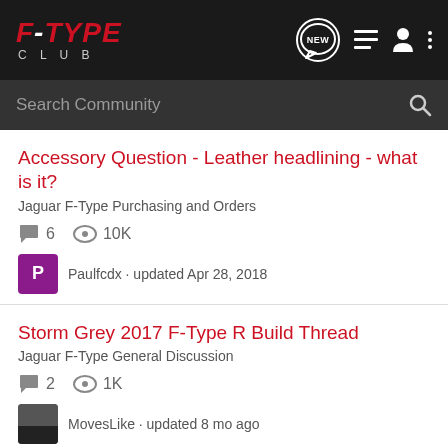F-TYPE CLUB — navigation header with logo, NEW, list, person, and menu icons
Search Community
Accessory Question - Leather headlining - what is it?
Jaguar F-Type Purchasing and Orders
6 comments · 10K views · Paulfcdx · updated Apr 28, 2018
Storm Grey 2017 F-Type R Build Thread
Jaguar F-Type General Discussion
2 comments · 1K views · MovesLike · updated 8 mo ago
Place your Factory Order Spec's Here